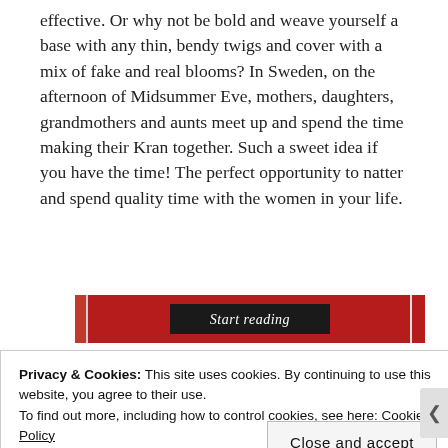effective. Or why not be bold and weave yourself a base with any thin, bendy twigs and cover with a mix of fake and real blooms? In Sweden, on the afternoon of Midsummer Eve, mothers, daughters, grandmothers and aunts meet up and spend the time making their Kran together. Such a sweet idea if you have the time! The perfect opportunity to natter and spend quality time with the women in your life.
[Figure (screenshot): A dark red banner with a black 'Start reading' button in the center]
Privacy & Cookies: This site uses cookies. By continuing to use this website, you agree to their use.
To find out more, including how to control cookies, see here: Cookie Policy
Close and accept